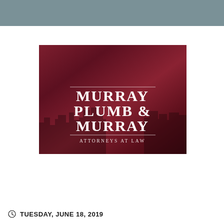[Figure (logo): Murray Plumb & Murray Attorneys at Law law firm logo on dark red/maroon background with city skyline silhouette]
TUESDAY, JUNE 18, 2019